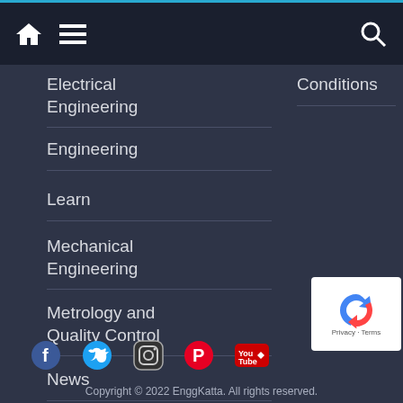Home | Menu | Search
Electrical Engineering
Engineering
Learn
Mechanical Engineering
Metrology and Quality Control
News
Technology
Conditions
[Figure (screenshot): Social media icons: Facebook, Twitter, Instagram, Pinterest, YouTube]
[Figure (logo): reCAPTCHA widget with Privacy and Terms links]
Copyright © 2022 EnggKatta. All rights reserved.